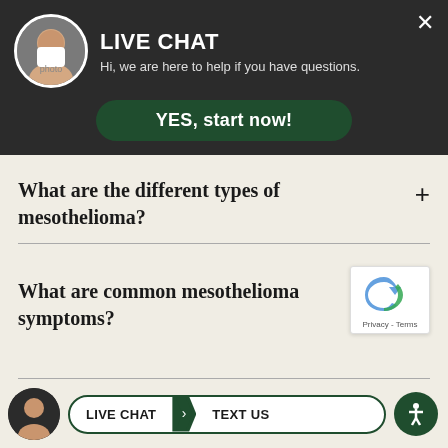[Figure (screenshot): Live chat widget header with avatar photo of smiling woman, 'LIVE CHAT' title, subtitle text, close button, and green YES button]
What are the different types of mesothelioma?
What are common mesothelioma symptoms?
[Figure (logo): reCAPTCHA badge with spinning arrows logo and Privacy - Terms text]
[Figure (screenshot): Bottom navigation bar with avatar, LIVE CHAT and TEXT US buttons, and accessibility icon]